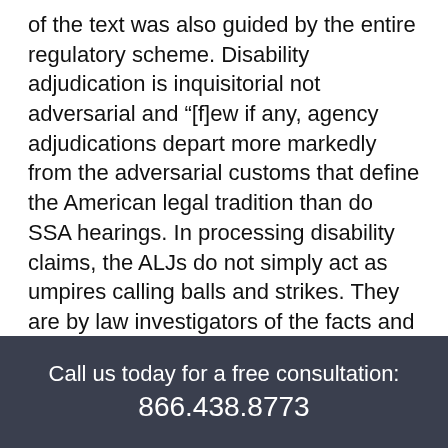of the text was also guided by the entire regulatory scheme. Disability adjudication is inquisitorial not adversarial and “[f]ew if any, agency adjudications depart more markedly from the adversarial customs that define the American legal tradition than do SSA hearings. In processing disability claims, the ALJs do not simply act as umpires calling balls and strikes. They are by law investigators of the facts and are tasked not only with the obligation to consider the reasons offered by both sides, but also with actively
Call us today for a free consultation: 866.438.8773